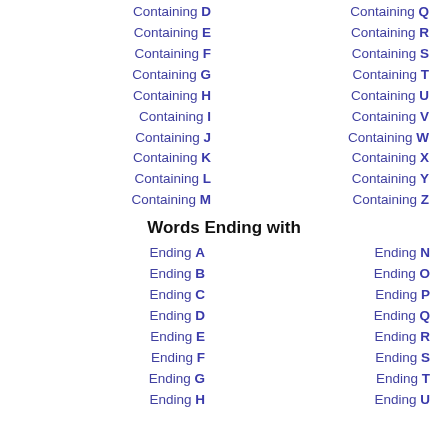Containing D
Containing E
Containing F
Containing G
Containing H
Containing I
Containing J
Containing K
Containing L
Containing M
Containing Q
Containing R
Containing S
Containing T
Containing U
Containing V
Containing W
Containing X
Containing Y
Containing Z
Words Ending with
Ending A
Ending B
Ending C
Ending D
Ending E
Ending F
Ending G
Ending H
Ending N
Ending O
Ending P
Ending Q
Ending R
Ending S
Ending T
Ending U